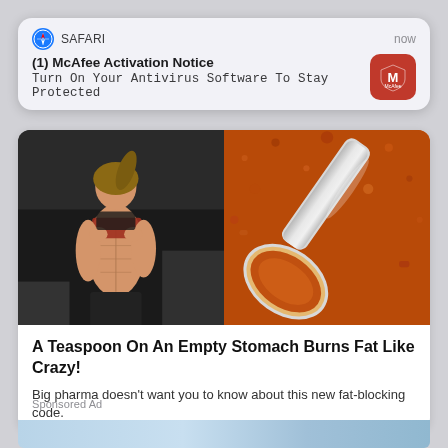[Figure (screenshot): iOS Safari push notification banner: '(1) McAfee Activation Notice - Turn On Your Antivirus Software To Stay Protected', with Safari compass icon, 'now' timestamp, and McAfee red shield logo]
[Figure (photo): Composite image: left half shows a muscular woman in a gym lifting her shirt to reveal abs; right half shows a metal spoon with orange/brown spice powder]
A Teaspoon On An Empty Stomach Burns Fat Like Crazy!
Big pharma doesn't want you to know about this new fat-blocking code.
Find Out More
136,754
Sponsored Ad